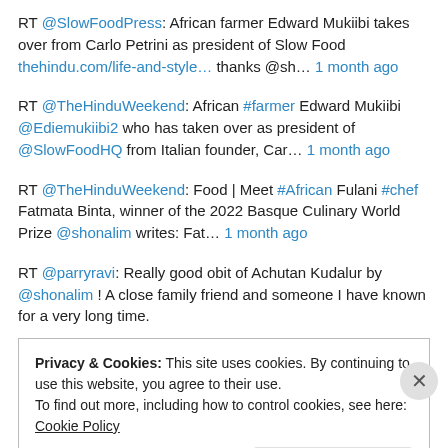RT @SlowFoodPress: African farmer Edward Mukiibi takes over from Carlo Petrini as president of Slow Food thehindu.com/life-and-style… thanks @sh… 1 month ago
RT @TheHinduWeekend: African #farmer Edward Mukiibi @Ediemukiibi2 who has taken over as president of @SlowFoodHQ from Italian founder, Car… 1 month ago
RT @TheHinduWeekend: Food | Meet #African Fulani #chef Fatmata Binta, winner of the 2022 Basque Culinary World Prize @shonalim writes: Fat… 1 month ago
RT @parryravi: Really good obit of Achutan Kudalur by @shonalim ! A close family friend and someone I have known for a very long time.
Privacy & Cookies: This site uses cookies. By continuing to use this website, you agree to their use. To find out more, including how to control cookies, see here: Cookie Policy